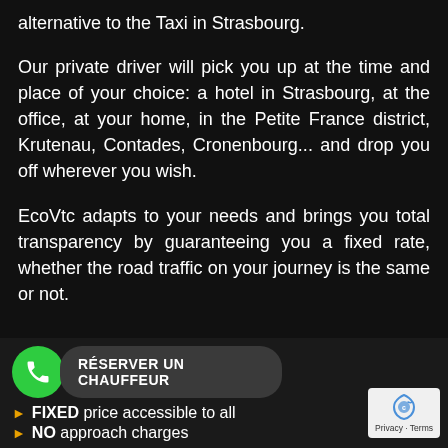alternative to the Taxi in Strasbourg.
Our private driver will pick you up at the time and place of your choice: a hotel in Strasbourg, at the office, at your home, in the Petite France district, Krutenau, Contades, Cronenbourg... and drop you off wherever you wish.
EcoVtc adapts to your needs and brings you total transparency by guaranteeing you a fixed rate, whether the road traffic on your journey is the same or not.
RÉSERVER UN CHAUFFEUR
FIXED price accessible to all
NO approach charges